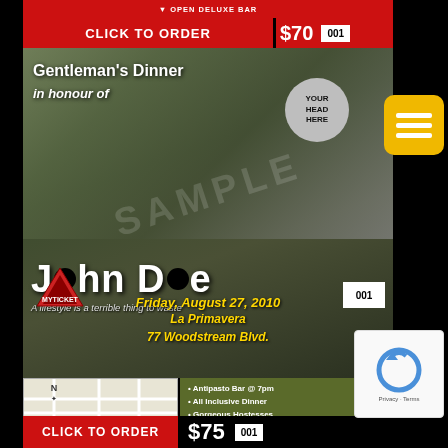[Figure (screenshot): Event ticket/flyer page screenshot showing a Gentleman's Dinner event for John Doe on Friday August 27 2010 at La Primavera, 77 Woodstream Blvd. Price $75. Includes CLICK TO ORDER buttons, bullet point list of amenities, map, and reCAPTCHA.]
CLICK TO ORDER
OPEN DELUXE BAR
$70   001
Gentleman's Dinner in honour of
YOUR HEAD HERE
John Doe
A lifestyle is a terrible thing to waste
Friday, August 27, 2010
La Primavera
77 Woodstream Blvd.
• Antipasto Bar @ 7pm
• All Inclusive Dinner
• Gorgeous Hostesses
• Raffles & Prizes
• Open Deluxe Bar
$75   001
CLICK TO ORDER
Privacy · Terms